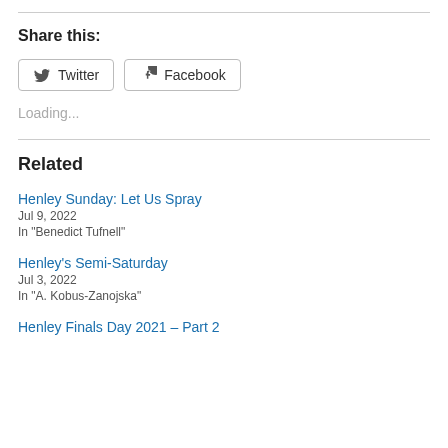Share this:
Twitter  Facebook
Loading...
Related
Henley Sunday: Let Us Spray
Jul 9, 2022
In "Benedict Tufnell"
Henley's Semi-Saturday
Jul 3, 2022
In "A. Kobus-Zanojska"
Henley Finals Day 2021 – Part 2